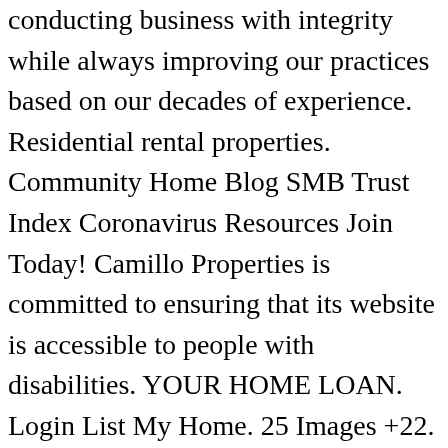conducting business with integrity while always improving our practices based on our decades of experience. Residential rental properties. Community Home Blog SMB Trust Index Coronavirus Resources Join Today! Camillo Properties is committed to ensuring that its website is accessible to people with disabilities. YOUR HOME LOAN. Login List My Home. 25 Images +22. BARGAIN OF THE YEAR! The average price of the homes for sale in Camillo Lakes is $252,464. MANY opportunities for growth. More Filters. The average square feet of the homes in